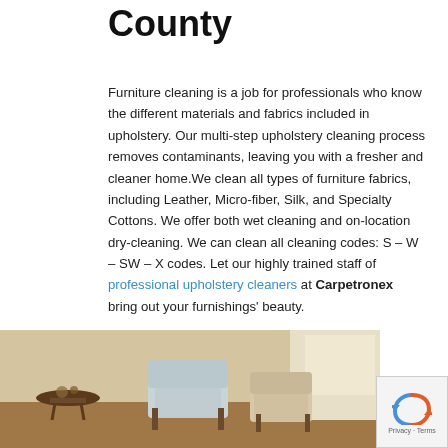County
Furniture cleaning is a job for professionals who know the different materials and fabrics included in upholstery. Our multi-step upholstery cleaning process removes contaminants, leaving you with a fresher and cleaner home.We clean all types of furniture fabrics, including Leather, Micro-fiber, Silk, and Specialty Cottons. We offer both wet cleaning and on-location dry-cleaning. We can clean all cleaning codes: S – W – SW – X codes. Let our highly trained staff of professional upholstery cleaners at Carpetronex bring out your furnishings' beauty.
[Figure (photo): Interior room scene with upholstered chairs and furniture, warm brown tones]